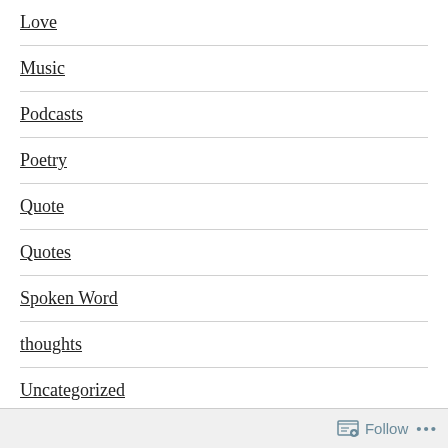Love
Music
Podcasts
Poetry
Quote
Quotes
Spoken Word
thoughts
Uncategorized
Follow ...